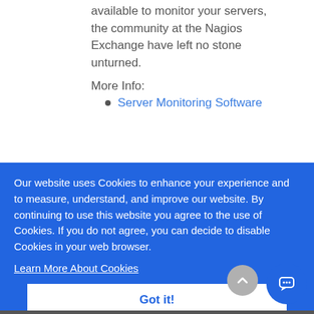available to monitor your servers, the community at the Nagios Exchange have left no stone unturned.
More Info:
Server Monitoring Software
Our website uses Cookies to enhance your experience and to measure, understand, and improve our website. By continuing to use this website you agree to the use of Cookies. If you do not agree, you can decide to disable Cookies in your web browser.
Learn More About Cookies
Got it!